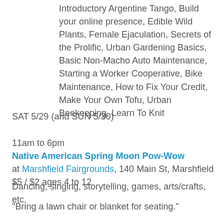Introductory Argentine Tango, Build your online presence, Edible Wild Plants, Female Ejaculation, Secrets of the Prolific, Urban Gardening Basics, Basic Non-Macho Auto Maintenance, Starting a Worker Cooperative, Bike Maintenance, How to Fix Your Credit, Make Your Own Tofu, Urban Beekeeping, Learn To Knit
SAT 5/29 (and SUN 5/30)
11am to 6pm
Native American Spring Moon Pow-Wow
at Marshfield Fairgrounds, 140 Main St, Marshfield
$5 / $2 ages 4 to 12
Dancing, singing, storytelling, games, arts/crafts, etc.
"Bring a lawn chair or blanket for seating."
[Details in PDF]
SAT 5/29 (thru MON 5/31)